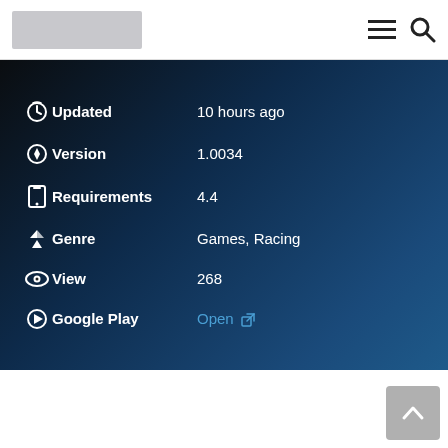[Figure (logo): Gray logo placeholder rectangle in top-left header]
[Figure (other): Hamburger menu icon and search icon in top-right header]
Updated: 10 hours ago
Version: 1.0034
Requirements: 4.4
Genre: Games, Racing
View: 268
Google Play: Open
[Figure (other): Gray back-to-top button with upward chevron arrow in bottom-right corner]